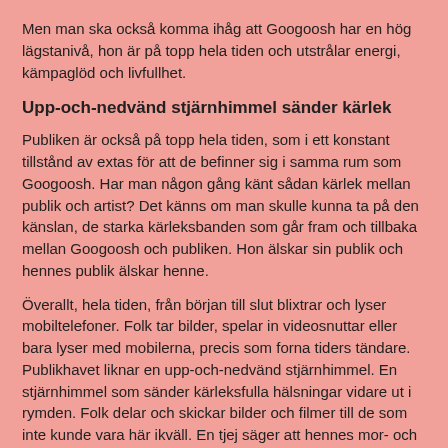Men man ska också komma ihåg att Googoosh har en hög lägstanivå, hon är på topp hela tiden och utstrålar energi, kämpaglöd och livfullhet.
Upp-och-nedvänd stjärnhimmel sänder kärlek
Publiken är också på topp hela tiden, som i ett konstant tillstånd av extas för att de befinner sig i samma rum som Googoosh. Har man någon gång känt sådan kärlek mellan publik och artist? Det känns om man skulle kunna ta på den känslan, de starka kärleksbanden som går fram och tillbaka mellan Googoosh och publiken. Hon älskar sin publik och hennes publik älskar henne.
Överallt, hela tiden, från början till slut blixtrar och lyser mobiltelefoner. Folk tar bilder, spelar in videosnuttar eller bara lyser med mobilerna, precis som forna tiders tändare. Publikhavet liknar en upp-och-nedvänd stjärnhimmel. En stjärnhimmel som sänder kärleksfulla hälsningar vidare ut i rymden. Folk delar och skickar bilder och filmer till de som inte kunde vara här ikväll. En tjej säger att hennes mor- och farföräldrar hemma i Iran kommer att bli så avundsjuka över